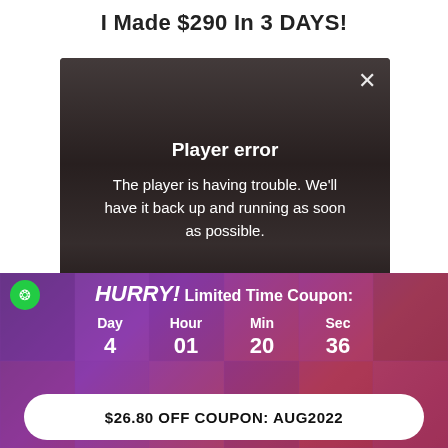I Made $290 In 3 DAYS!
[Figure (screenshot): Video player showing a person in a room with a 'Player error' overlay message. The error reads: 'Player error - The player is having trouble. We'll have it back up and running as soon as possible.' A close (X) button is visible in the top right corner.]
HURRY! Limited Time Coupon:
Day 4   Hour 01   Min 20   Sec 36
$26.80 OFF COUPON: AUG2022